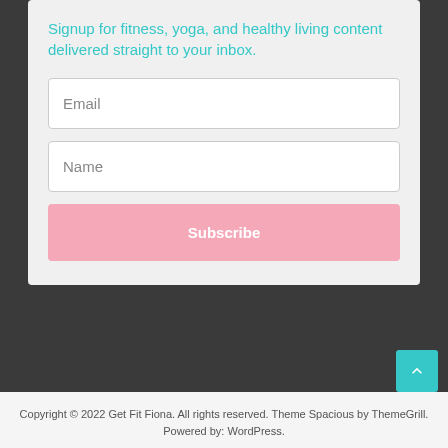Signup for fitness, yoga, and healthy living content delivered straight to your inbox.
Email
Name
Subscribe
Copyright © 2022 Get Fit Fiona. All rights reserved. Theme Spacious by ThemeGrill. Powered by: WordPress.